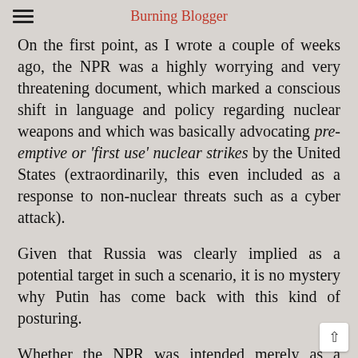Burning Blogger
On the first point, as I wrote a couple of weeks ago, the NPR was a highly worrying and very threatening document, which marked a conscious shift in language and policy regarding nuclear weapons and which was basically advocating pre-emptive or 'first use' nuclear strikes by the United States (extraordinarily, this even included as a response to non-nuclear threats such as a cyber attack).
Given that Russia was clearly implied as a potential target in such a scenario, it is no mystery why Putin has come back with this kind of posturing.
Whether the NPR was intended merely as a mixture of saber-rattling and warning — and wh...